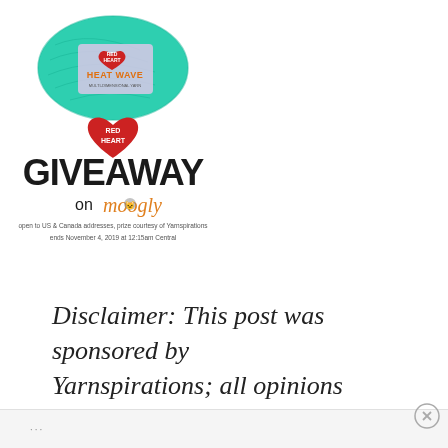[Figure (illustration): Red Heart Heat Wave yarn ball in teal/turquoise color with product label showing 'HEAT WAVE' text and a Red Heart logo heart below it, followed by 'GIVEAWAY on moogly' text with small print about US & Canada addresses and November 4, 2019 end date]
Disclaimer: This post was sponsored by Yarnspirations; all opinions are my own.
...